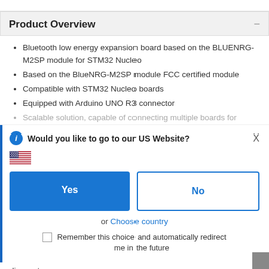Product Overview
Bluetooth low energy expansion board based on the BLUENRG-M2SP module for STM32 Nucleo
Based on the BlueNRG-M2SP module FCC certified module
Compatible with STM32 Nucleo boards
Equipped with Arduino UNO R3 connector
Scalable solution, capable of connecting multiple boards for...
Would you like to go to our US Website?
[Figure (infographic): US flag emoji]
Yes
No
or Choose country
Remember this choice and automatically redirect me in the future
discounts.